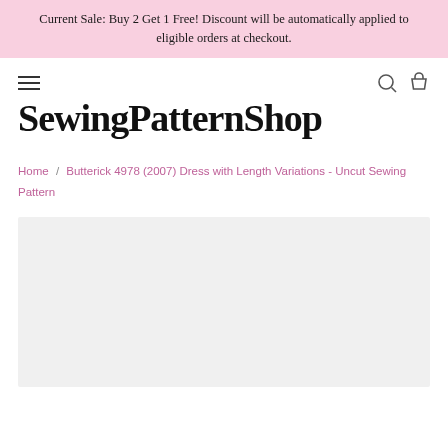Current Sale: Buy 2 Get 1 Free! Discount will be automatically applied to eligible orders at checkout.
SewingPatternShop
Home / Butterick 4978 (2007) Dress with Length Variations - Uncut Sewing Pattern
[Figure (photo): Light grey product image placeholder area]